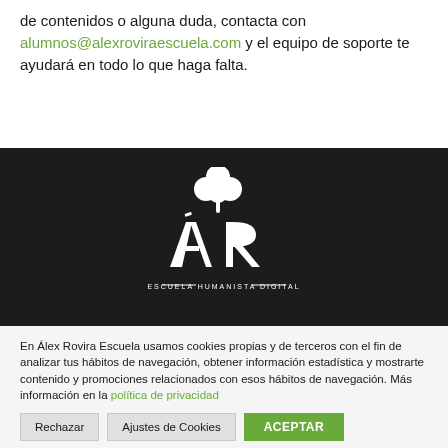de contenidos o alguna duda, contacta con alumnos@alexroviraescuela.com y el equipo de soporte te ayudará en todo lo que haga falta.
[Figure (logo): ÁR Escuela Humanista Digital white logo on dark background — stylized ÁR letters with a clover/tree above and 'ESCUELA HUMANISTA DIGITAL' text below]
En Álex Rovira Escuela usamos cookies propias y de terceros con el fin de analizar tus hábitos de navegación, obtener información estadística y mostrarte contenido y promociones relacionados con esos hábitos de navegación. Más información en la política de privacidad